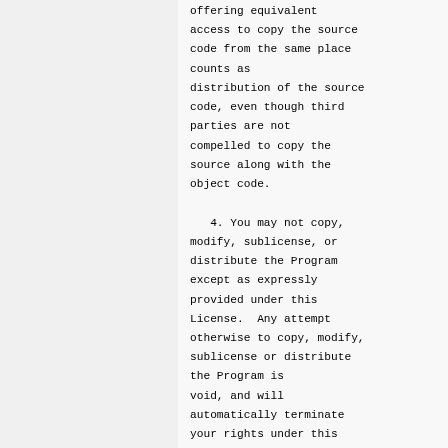offering equivalent access to copy the source code from the same place counts as distribution of the source code, even though third parties are not compelled to copy the source along with the object code.

   4. You may not copy, modify, sublicense, or distribute the Program except as expressly provided under this License.  Any attempt otherwise to copy, modify, sublicense or distribute the Program is void, and will automatically terminate your rights under this License.
However, parties who have